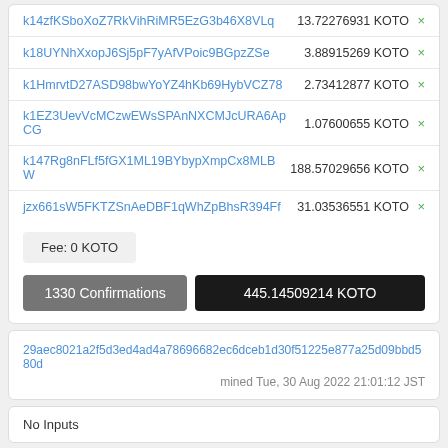| Address | Amount |
| --- | --- |
| k14zfKSboXoZ7RkVihRiMR5EzG3b46X8VLq | 13.72276931 KOTO |
| k18UYNhXxopJ6Sj5pF7yAfVPoic9BGpzZSe | 3.88915269 KOTO |
| k1HmrvtD27ASD98bwYoYZ4hKb69HybVCZ78 | 2.73412877 KOTO |
| k1EZ3UevVcMCzwEWsSPAnNXCMJcURA6ApCG | 1.07600655 KOTO |
| k147Rg8nFLf5fGX1ML19BYbypXmpCx8MLBW | 188.57029656 KOTO |
| jzx661sW5FKTZSnAeDBF1qWhZpBhsR394Ff | 31.03536551 KOTO |
Fee: 0 KOTO
1330 Confirmations
445.14509214 KOTO
29aec8021a2f5d3ed4ad4a78696682ec6dceb1d30f51225e877a25d09bbd580d
mined Tue, 30 Aug 2022 21:01:12 JST
No Inputs